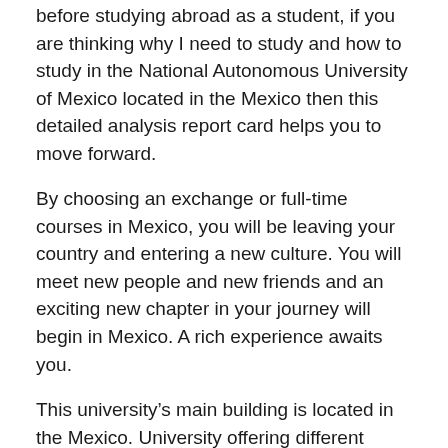before studying abroad as a student, if you are thinking why I need to study and how to study in the National Autonomous University of Mexico located in the Mexico then this detailed analysis report card helps you to move forward.
By choosing an exchange or full-time courses in Mexico, you will be leaving your country and entering a new culture. You will meet new people and new friends and an exciting new chapter in your journey will begin in Mexico. A rich experience awaits you.
This university’s main building is located in the Mexico. University offering different courses for Bachelors, Masters, PhD, and short term courses. Every year a number of local and international students study in the National Autonomous University of Mexico.
Six Reasons why